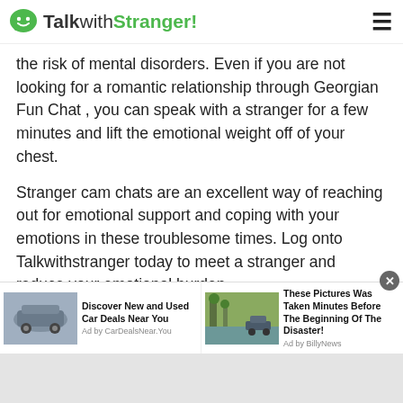TalkwithStranger!
the risk of mental disorders. Even if you are not looking for a romantic relationship through Georgian Fun Chat , you can speak with a stranger for a few minutes and lift the emotional weight off of your chest.
Stranger cam chats are an excellent way of reaching out for emotional support and coping with your emotions in these troublesome times. Log onto Talkwithstranger today to meet a stranger and reduce your emotional burden.
The Chatrandom Feature For Georgian Fun Chat
[Figure (screenshot): Advertisement bar with two ad units: 'Discover New and Used Car Deals Near You' by CarDealsNear.You, and 'These Pictures Was Taken Minutes Before The Beginning Of The Disaster!' by Ad by BillyNews. A close (X) button is visible.]